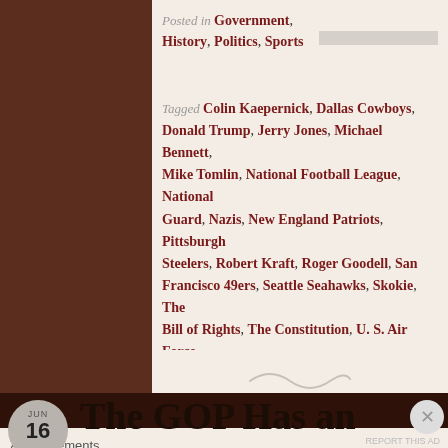Posted in Government, History, Politics, Sports
Leave a comment
Tagged Colin Kaepernick, Dallas Cowboys, Donald Trump, Jerry Jones, Michael Bennett, Mike Tomlin, National Football League, National Guard, Nazis, New England Patriots, Pittsburgh Steelers, Robert Kraft, Roger Goodell, San Francisco 49ers, Seattle Seahawks, Skokie, The Bill of Rights, The Constitution, U. S. Air Force, U. S. Army, U. S. Constitution, U. S. Navy, United States Marine Corps
[Figure (illustration): Decorative tilde/squiggle divider]
Jun 16
The GOP Has an
Advertisements
AUTOMATTIC
Build a better web and a better world.
REPORT THIS AD